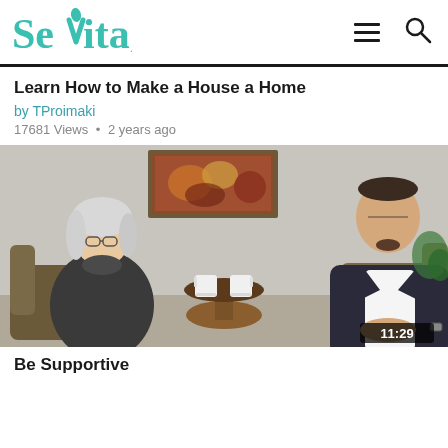Sevita — navigation bar with hamburger menu and search icon
Learn How to Make a House a Home
by TProimaki
17681 Views • 2 years ago
[Figure (photo): Two people seated in chairs having a conversation in an office or living room setting. A woman with short white/gray hair and glasses on the left wearing a dark jacket, and a man in a dark suit jacket with a white shirt on the right. A small round table with two white mugs sits between them. A framed landscape painting hangs on the wall behind them. Video timestamp 11:29 shown in bottom-right corner.]
Be Supportive